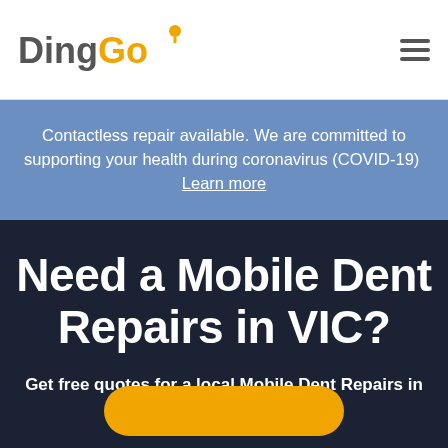DingGo
Contactless repair available. We are committed to supporting your health during coronavirus (COVID-19) Learn more
Need a Mobile Dent Repairs in VIC?
Get free quotes for a local Mobile Dent Repairs in VIC